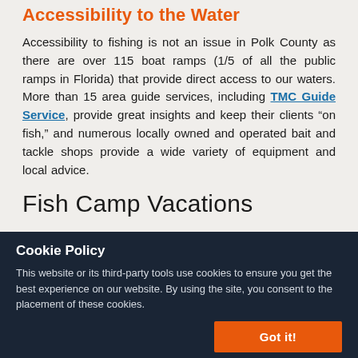Accessibility to the Water
Accessibility to fishing is not an issue in Polk County as there are over 115 boat ramps (1/5 of all the public ramps in Florida) that provide direct access to our waters. More than 15 area guide services, including TMC Guide Service, provide great insights and keep their clients “on fish,” and numerous locally owned and operated bait and tackle shops provide a wide variety of equipment and local advice.
Fish Camp Vacations
Cookie Policy
This website or its third-party tools use cookies to ensure you get the best experience on our website. By using the site, you consent to the placement of these cookies.
Necessary
Preferences
Statistics
Marketing